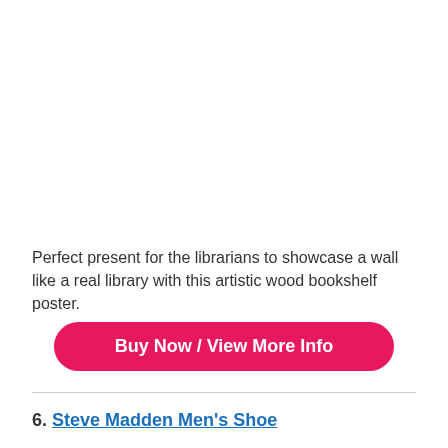Perfect present for the librarians to showcase a wall like a real library with this artistic wood bookshelf poster.
[Figure (other): Buy Now / View More Info button — pink/red rounded rectangle button with white text]
6. Steve Madden Men's Shoe